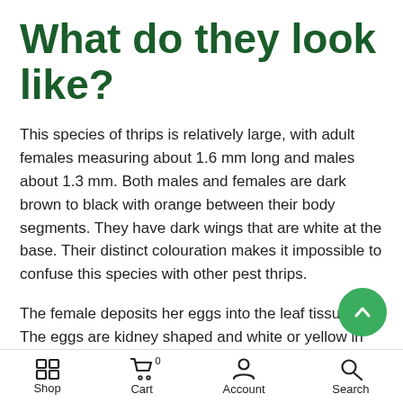What do they look like?
This species of thrips is relatively large, with adult females measuring about 1.6 mm long and males about 1.3 mm. Both males and females are dark brown to black with orange between their body segments. They have dark wings that are white at the base. Their distinct colouration makes it impossible to confuse this species with other pest thrips.
The female deposits her eggs into the leaf tissue. The eggs are kidney shaped and white or yellow in colour.
Shop  Cart  Account  Search